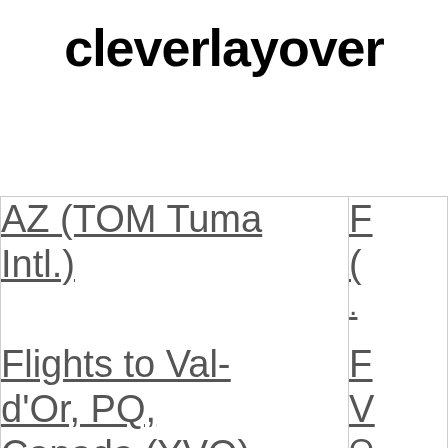cleverlayover
| AZ (TOM Tuma Intl.) | F (O... |
| Flights to Val-d'Or, PQ, Canada (YVO) | F V... |